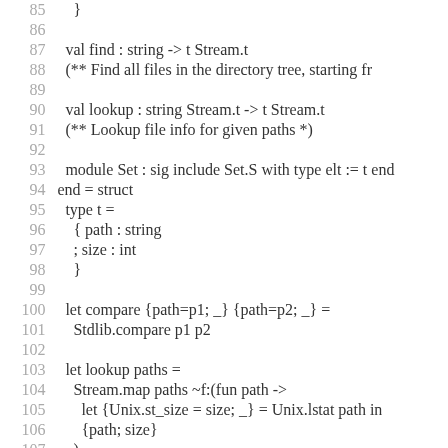Code listing lines 85-116 showing OCaml module implementation with find, lookup, compare functions and Set module